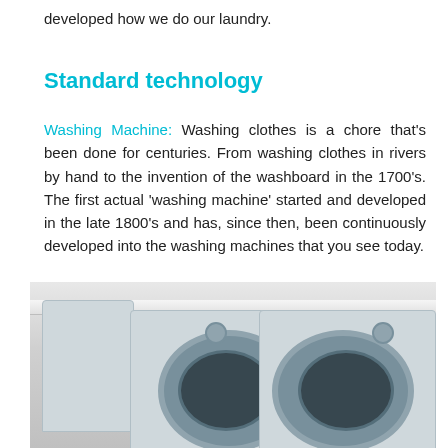developed how we do our laundry.
Standard technology
Washing Machine: Washing clothes is a chore that’s been done for centuries. From washing clothes in rivers by hand to the invention of the washboard in the 1700’s. The first actual ‘washing machine’ started and developed in the late 1800’s and has, since then, been continuously developed into the washing machines that you see today.
[Figure (photo): A front-loading washing machine and dryer (or two washers) side by side in a laundry room, silver/light blue in color, with circular doors, viewed from a slight angle showing the top counter surface.]